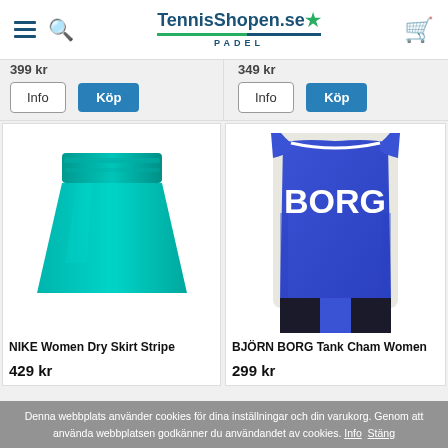TennisShopen.se PADEL
[Figure (photo): NIKE Women Dry Skirt Stripe - teal/turquoise tennis skirt product photo]
NIKE Women Dry Skirt Stripe
429 kr
[Figure (photo): BJÖRN BORG Tank Cham Women - blue sleeveless tank top with BORG text, worn by female model]
BJÖRN BORG Tank Cham Women
299 kr
Denna webbplats använder cookies för dina inställningar och din varukorg. Genom att använda webbplatsen godkänner du användandet av cookies. Info Stäng